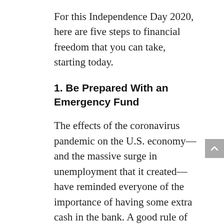For this Independence Day 2020, here are five steps to financial freedom that you can take, starting today.
1. Be Prepared With an Emergency Fund
The effects of the coronavirus pandemic on the U.S. economy—and the massive surge in unemployment that it created—have reminded everyone of the importance of having some extra cash in the bank. A good rule of thumb is to have three to six months of your expenses readily available in an emergency savings fund, preferably in an FDIC- (or NCUA-)